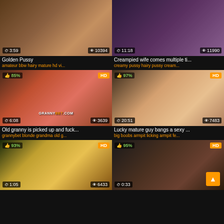[Figure (screenshot): Video thumbnail grid - mature content video site. Row 1: two video thumbnails with duration and view counts. Row 2: two HD video thumbnails with like percentages. Row 3: two HD video thumbnails with like percentages.]
Golden Pussy
amateur bbw hairy mature hd vi...
Creampied wife comes multiple ti...
creamy pussy hairy pussy cream...
Old granny is picked up and fuck...
grannybet blonde grandma old g...
Lucky mature guy bangs a sexy ...
big boobs armpit licking armpit fe...